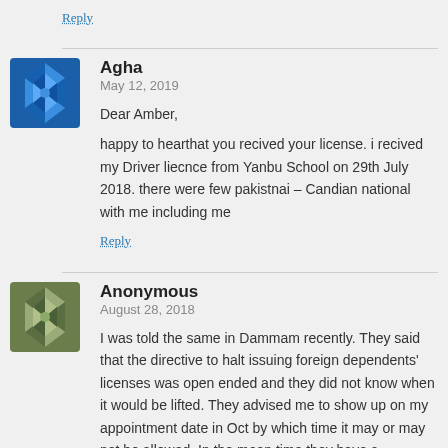Reply
Agha
May 12, 2019

Dear Amber,

happy to hearthat you recived your license. i recived my Driver liecnce from Yanbu School on 29th July 2018. there were few pakistnai – Candian national with me including me
Reply
Anonymous
August 28, 2018

I was told the same in Dammam recently. They said that the directive to halt issuing foreign dependents' licenses was open ended and they did not know when it would be lifted. They advised me to show up on my appointment date in Oct by which time it may or may not be allowed. In the mean time they have a